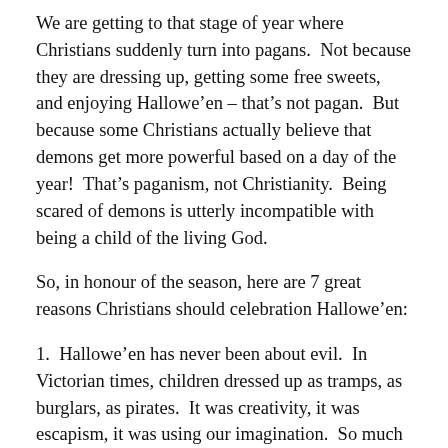We are getting to that stage of year where Christians suddenly turn into pagans.  Not because they are dressing up, getting some free sweets, and enjoying Hallowe'en – that's not pagan.  But because some Christians actually believe that demons get more powerful based on a day of the year!  That's paganism, not Christianity.  Being scared of demons is utterly incompatible with being a child of the living God.
So, in honour of the season, here are 7 great reasons Christians should celebration Hallowe'en:
1.  Hallowe'en has never been about evil.  In Victorian times, children dressed up as tramps, as burglars, as pirates.  It was creativity, it was escapism, it was using our imagination.  So much of success in life depends on our imagination, and our ability to conceive a future above and beyond what